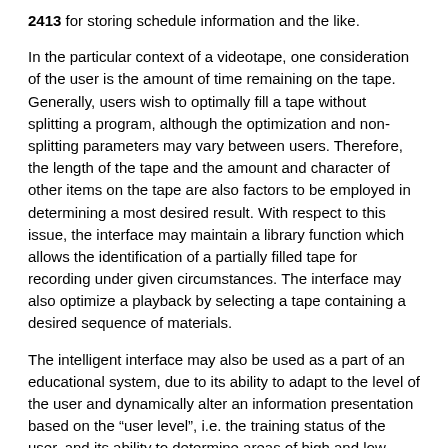2413 for storing schedule information and the like.
In the particular context of a videotape, one consideration of the user is the amount of time remaining on the tape. Generally, users wish to optimally fill a tape without splitting a program, although the optimization and non-splitting parameters may vary between users. Therefore, the length of the tape and the amount and character of other items on the tape are also factors to be employed in determining a most desired result. With respect to this issue, the interface may maintain a library function which allows the identification of a partially filled tape for recording under given circumstances. The interface may also optimize a playback by selecting a tape containing a desired sequence of materials.
The intelligent interface may also be used as a part of an educational system, due to its ability to adapt to the level of the user and dynamically alter an information presentation based on the “user level”, i.e. the training status of the user, and its ability to determine areas of high and low performance. Likewise, the intelligent interface according to the present invention may also be used in a